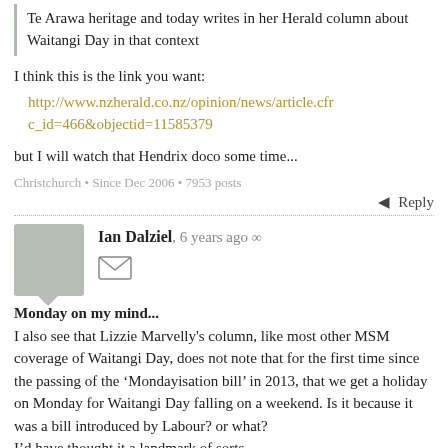Te Arawa heritage and today writes in her Herald column about Waitangi Day in that context
I think this is the link you want:
http://www.nzherald.co.nz/opinion/news/article.cfm c_id=466&objectid=11585379
but I will watch that Hendrix doco some time...
Christchurch • Since Dec 2006 • 7953 posts
Reply
Ian Dalziel, 6 years ago ∞
Monday on my mind...
I also see that Lizzie Marvelly's column, like most other MSM coverage of Waitangi Day, does not note that for the first time since the passing of the 'Mondayisation bill' in 2013, that we get a holiday on Monday for Waitangi Day falling on a weekend. Is it because it was a bill introduced by Labour? or what?
I'd have thought it a landmark of sorts...